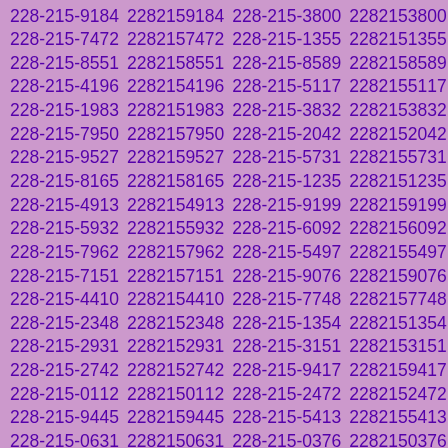| 228-215-9184 | 2282159184 | 228-215-3800 | 2282153800 |
| 228-215-7472 | 2282157472 | 228-215-1355 | 2282151355 |
| 228-215-8551 | 2282158551 | 228-215-8589 | 2282158589 |
| 228-215-4196 | 2282154196 | 228-215-5117 | 2282155117 |
| 228-215-1983 | 2282151983 | 228-215-3832 | 2282153832 |
| 228-215-7950 | 2282157950 | 228-215-2042 | 2282152042 |
| 228-215-9527 | 2282159527 | 228-215-5731 | 2282155731 |
| 228-215-8165 | 2282158165 | 228-215-1235 | 2282151235 |
| 228-215-4913 | 2282154913 | 228-215-9199 | 2282159199 |
| 228-215-5932 | 2282155932 | 228-215-6092 | 2282156092 |
| 228-215-7962 | 2282157962 | 228-215-5497 | 2282155497 |
| 228-215-7151 | 2282157151 | 228-215-9076 | 2282159076 |
| 228-215-4410 | 2282154410 | 228-215-7748 | 2282157748 |
| 228-215-2348 | 2282152348 | 228-215-1354 | 2282151354 |
| 228-215-2931 | 2282152931 | 228-215-3151 | 2282153151 |
| 228-215-2742 | 2282152742 | 228-215-9417 | 2282159417 |
| 228-215-0112 | 2282150112 | 228-215-2472 | 2282152472 |
| 228-215-9445 | 2282159445 | 228-215-5413 | 2282155413 |
| 228-215-0631 | 2282150631 | 228-215-0376 | 2282150376 |
| 228-215-6465 | 2282156465 | 228-215-5962 | 2282155962 |
| 228-215-2889 | 2282152889 | 228-215-2266 | 2282152266 |